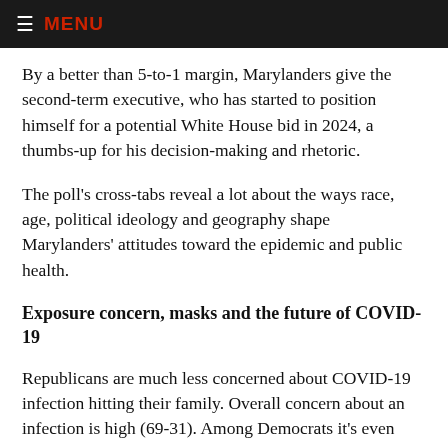≡ MENU
By a better than 5-to-1 margin, Marylanders give the second-term executive, who has started to position himself for a potential White House bid in 2024, a thumbs-up for his decision-making and rhetoric.
The poll's cross-tabs reveal a lot about the ways race, age, political ideology and geography shape Marylanders' attitudes toward the epidemic and public health.
Exposure concern, masks and the future of COVID-19
Republicans are much less concerned about COVID-19 infection hitting their family. Overall concern about an infection is high (69-31). Among Democrats it's even higher (82-18). But only 47% of Republicans say they're worried about exposure.